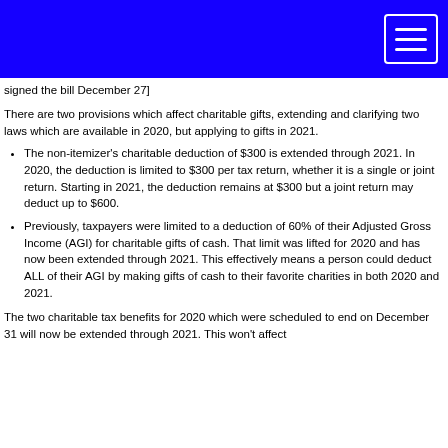[navigation bar - blue header with menu button]
signed the bill December 27]
There are two provisions which affect charitable gifts, extending and clarifying two laws which are available in 2020, but applying to gifts in 2021.
The non-itemizer's charitable deduction of $300 is extended through 2021. In 2020, the deduction is limited to $300 per tax return, whether it is a single or joint return. Starting in 2021, the deduction remains at $300 but a joint return may deduct up to $600.
Previously, taxpayers were limited to a deduction of 60% of their Adjusted Gross Income (AGI) for charitable gifts of cash. That limit was lifted for 2020 and has now been extended through 2021. This effectively means a person could deduct ALL of their AGI by making gifts of cash to their favorite charities in both 2020 and 2021.
The two charitable tax benefits for 2020 which were scheduled to end on December 31 will now be extended through 2021. This won't affect